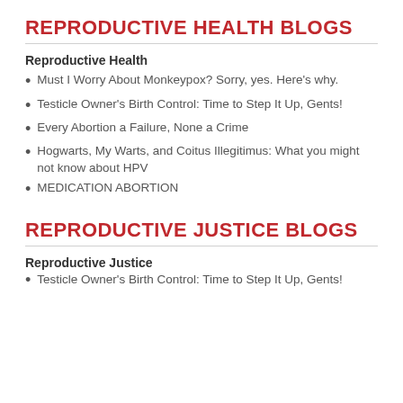REPRODUCTIVE HEALTH BLOGS
Reproductive Health
Must I Worry About Monkeypox? Sorry, yes. Here's why.
Testicle Owner's Birth Control: Time to Step It Up, Gents!
Every Abortion a Failure, None a Crime
Hogwarts, My Warts, and Coitus Illegitimus: What you might not know about HPV
MEDICATION ABORTION
REPRODUCTIVE JUSTICE BLOGS
Reproductive Justice
Testicle Owner's Birth Control: Time to Step It Up, Gents!